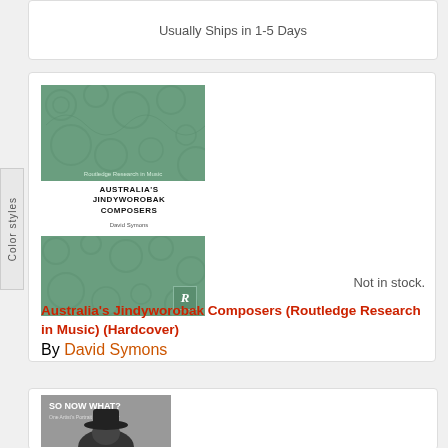Usually Ships in 1-5 Days
[Figure (photo): Book cover for Australia's Jindyworobak Composers - green patterned Routledge cover shown twice (front and spine view)]
Australia's Jindyworobak Composers (Routledge Research in Music) (Hardcover)
By David Symons
Not in stock.
[Figure (photo): Partial book cover for 'So Now What?' - shows a person wearing a black hat, grayscale photo]